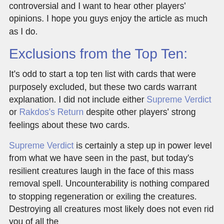controversial and I want to hear other players' opinions. I hope you guys enjoy the article as much as I do.
Exclusions from the Top Ten:
It's odd to start a top ten list with cards that were purposely excluded, but these two cards warrant explanation. I did not include either Supreme Verdict or Rakdos's Return despite other players' strong feelings about these two cards.
Supreme Verdict is certainly a step up in power level from what we have seen in the past, but today's resilient creatures laugh in the face of this mass removal spell. Uncounterability is nothing compared to stopping regeneration or exiling the creatures. Destroying all creatures most likely does not even rid you of all the